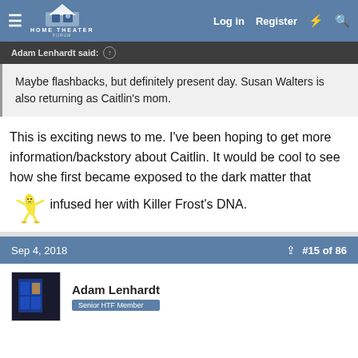Home Theater Forum — Log in | Register
Adam Lenhardt said: ↑
Maybe flashbacks, but definitely present day. Susan Walters is also returning as Caitlin's mom.
This is exciting news to me. I've been hoping to get more information/backstory about Caitlin. It would be cool to see how she first became exposed to the dark matter that infused her with Killer Frost's DNA.
Sep 4, 2018 | #15 of 86
Adam Lenhardt — Senior HTF Member